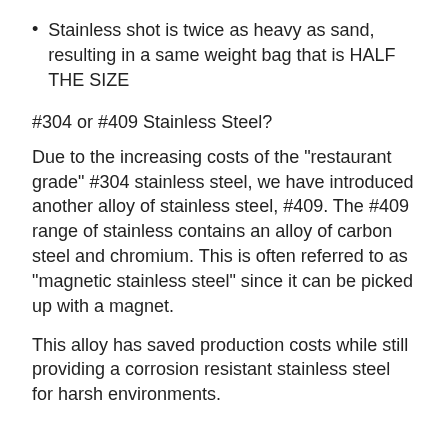Stainless shot is twice as heavy as sand, resulting in a same weight bag that is HALF THE SIZE
#304 or #409 Stainless Steel?
Due to the increasing costs of the "restaurant grade" #304 stainless steel, we have introduced another alloy of stainless steel, #409. The #409 range of stainless contains an alloy of carbon steel and chromium. This is often referred to as "magnetic stainless steel" since it can be picked up with a magnet.
This alloy has saved production costs while still providing a corrosion resistant stainless steel for harsh environments.